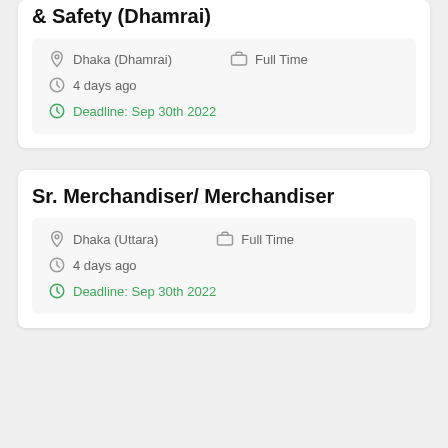& Safety (Dhamrai)
Dhaka (Dhamrai)   Full Time
4 days ago
Deadline: Sep 30th 2022
Sr. Merchandiser/ Merchandiser
Dhaka (Uttara)   Full Time
4 days ago
Deadline: Sep 30th 2022